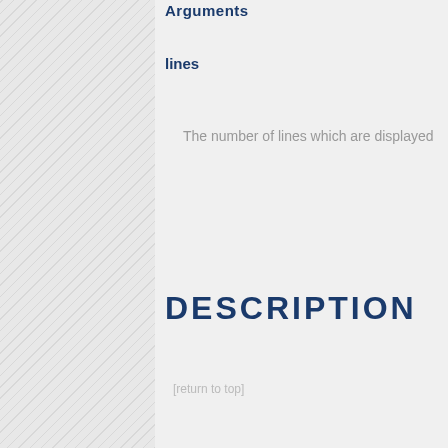Arguments
lines
The number of lines which are displayed
DESCRIPTION
[return to top]
PNFSMANAGER COMMANDS
PNFSIDOF
pnfsidof — Print the pnfs id of a file given by